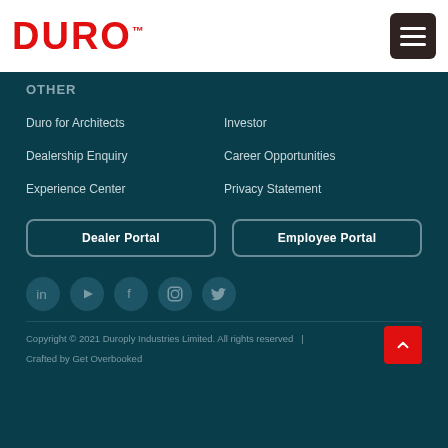DURO
OTHER
Duro for Architects
Investor
Dealership Enquiry
Career Opportunities
Experience Center
Privacy Statement
Dealer Portal
Employee Portal
[Figure (infographic): Social media icons: LinkedIn, YouTube, Facebook, Instagram, Twitter]
Copyright © 2021 Duroply Industries Limited. All rights reserved  |
Crafted by Get Overbooked